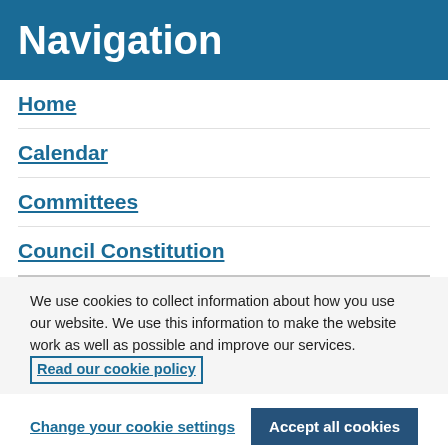Navigation
Home
Calendar
Committees
Council Constitution
We use cookies to collect information about how you use our website. We use this information to make the website work as well as possible and improve our services. Read our cookie policy
Change your cookie settings
Accept all cookies